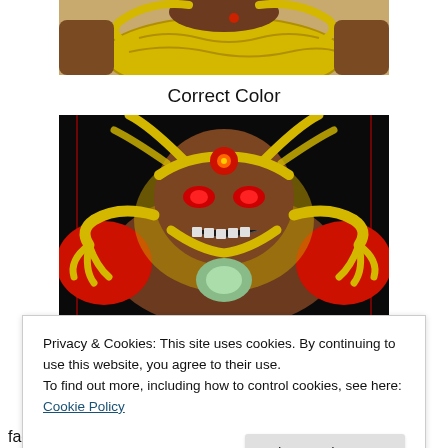[Figure (illustration): Partial top view of an animated character with brown skin, yellow segmented armor/tentacle elements against a light background — cropped at top]
Correct Color
[Figure (illustration): Animated villain character with brown face, yellow markings, red eyes, a red circular gem on forehead, yellow antennae/tentacles, red shoulder armor, grinning with white teeth, black background — 'correct color' version]
Privacy & Cookies: This site uses cookies. By continuing to use this website, you agree to their use.
To find out more, including how to control cookies, see here: Cookie Policy
face, due to a gap in the cleanup line. This was only for